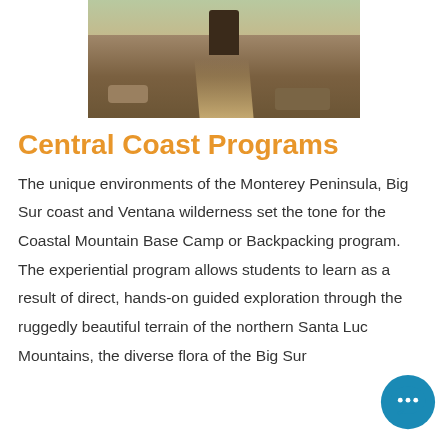[Figure (photo): A person hiking on a rocky mountain trail, with rugged terrain and sparse vegetation visible.]
Central Coast Programs
The unique environments of the Monterey Peninsula, Big Sur coast and Ventana wilderness set the tone for the Coastal Mountain Base Camp or Backpacking program. The experiential program allows students to learn as a result of direct, hands-on guided exploration through the ruggedly beautiful terrain of the northern Santa Lucia Mountains, the diverse flora of the Big Sur coast and the incredible crater of Mount...